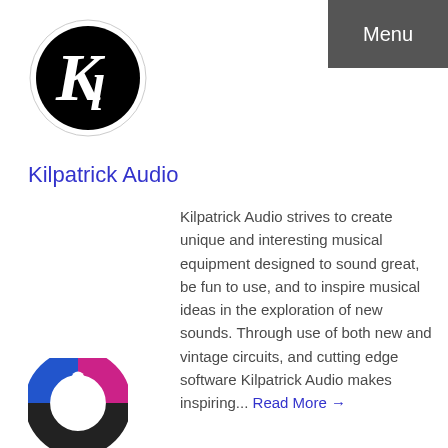Menu
[Figure (logo): Kilpatrick Audio logo: white cursive K and L letters on a black circle with white border]
Kilpatrick Audio
Kilpatrick Audio strives to create unique and interesting musical equipment designed to sound great, be fun to use, and to inspire musical ideas in the exploration of new sounds. Through use of both new and vintage circuits, and cutting edge software Kilpatrick Audio makes inspiring... Read More →
[Figure (logo): Colorful circular logo partially visible at bottom of page with blue, pink and white design]